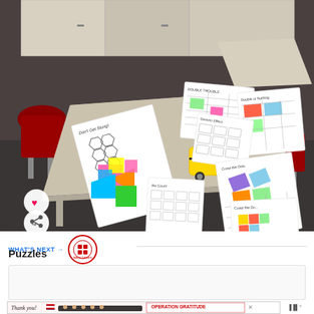[Figure (photo): Classroom photo showing student desks covered with various math puzzle and game worksheets/activities including 'Don't Get Stung', 'Domino Effect', 'Cover the Dots', colorful tangram-like pieces, and other math game papers. Red chairs are visible around the desks. Social media interaction buttons (heart/like and share) are overlaid on the bottom-left of the image.]
WHAT'S NEXT → Puzzles
[Figure (logo): Circular logo for Puzzles math games with red border and puzzle piece imagery]
[Figure (photo): Advertisement banner: Thank you message with US flag and pencil graphic on left, Operation Gratitude logo on right, showing firefighters/military personnel]